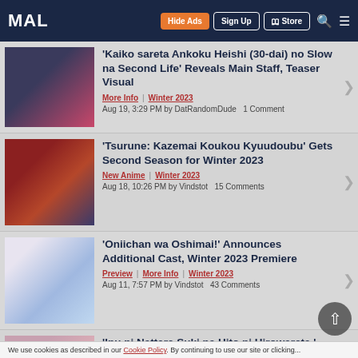MAL | Hide Ads | Sign Up | Store
'Kaiko sareta Ankoku Heishi (30-dai) no Slow na Second Life' Reveals Main Staff, Teaser Visual
More Info | Winter 2023 | Aug 19, 3:29 PM by DatRandomDude  1 Comment
'Tsurune: Kazemai Koukou Kyuudoubu' Gets Second Season for Winter 2023
New Anime | Winter 2023 | Aug 18, 10:26 PM by Vindstot  15 Comments
'Oniichan wa Oshimai!' Announces Additional Cast, Winter 2023 Premiere
Preview | More Info | Winter 2023 | Aug 11, 7:57 PM by Vindstot  43 Comments
'Inu ni Nattara Suki na Hito ni Hirowareta.' Reveals Main Cast, Staff, First Promo for Winter 2023
We use cookies as described in our Cookie Policy. By continuing to use our site or clicking...